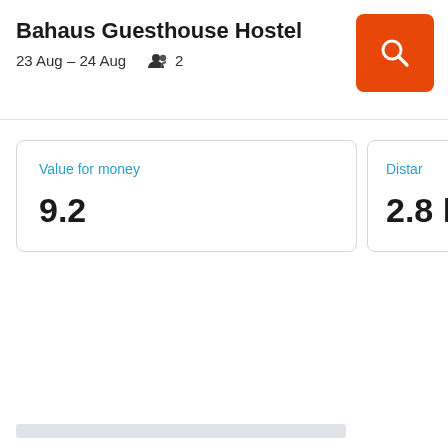Bahaus Guesthouse Hostel
23 Aug – 24 Aug   2
[Figure (other): Orange search button with magnifying glass icon]
Value for money
9.2
Distan
2.8
[Figure (other): Loading skeleton bars and blocks]